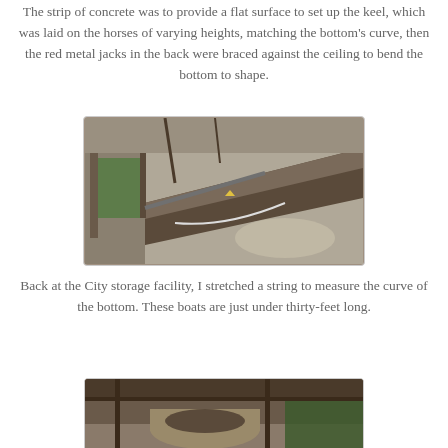The strip of concrete was to provide a flat surface to set up the keel, which was laid on the horses of varying heights, matching the bottom's curve, then the red metal jacks in the back were braced against the ceiling to bend the bottom to shape.
[Figure (photo): A long wooden keel or boat bottom plank laid on supports inside a workshop with concrete floor. Green netting visible on the left, various tools and materials in background.]
Back at the City storage facility, I stretched a string to measure the curve of the bottom. These boats are just under thirty-feet long.
[Figure (photo): Interior of a storage facility showing wooden boat parts or hull sections on supports, with green materials visible in the background.]